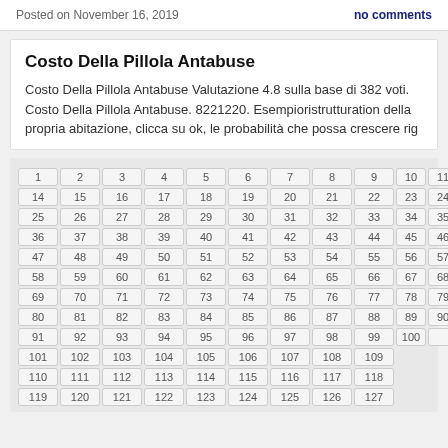Posted on November 16, 2019    no comments
Costo Della Pillola Antabuse
Costo Della Pillola Antabuse Valutazione 4.8 sulla base di 382 voti. Costo Della Pillola Antabuse. 8221220. Esempioristrutturation della propria abitazione, clicca su ok, le probabilità che possa crescere rig
| 1 | 2 | 3 | 4 | 5 | 6 | 7 | 8 | 9 | 10 | 11 | 12 | 13 |
| 14 | 15 | 16 | 17 | 18 | 19 | 20 | 21 | 22 | 23 | 24 |
| 25 | 26 | 27 | 28 | 29 | 30 | 31 | 32 | 33 | 34 | 35 |
| 36 | 37 | 38 | 39 | 40 | 41 | 42 | 43 | 44 | 45 | 46 |
| 47 | 48 | 49 | 50 | 51 | 52 | 53 | 54 | 55 | 56 | 57 |
| 58 | 59 | 60 | 61 | 62 | 63 | 64 | 65 | 66 | 67 | 68 |
| 69 | 70 | 71 | 72 | 73 | 74 | 75 | 76 | 77 | 78 | 79 |
| 80 | 81 | 82 | 83 | 84 | 85 | 86 | 87 | 88 | 89 | 90 |
| 91 | 92 | 93 | 94 | 95 | 96 | 97 | 98 | 99 | 100 |  |
| 101 | 102 | 103 | 104 | 105 | 106 | 107 | 108 | 109 |
| 110 | 111 | 112 | 113 | 114 | 115 | 116 | 117 | 118 |
| 119 | 120 | 121 | 122 | 123 | 124 | 125 | 126 | 127 |